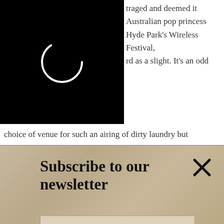[Figure (other): Black rectangle with a white circular loading/spinner icon outline]
traged and deemed it Australian pop princess Hyde Park's Wireless Festival, rd as a slight. It's an odd choice of venue for such an airing of dirty laundry but
[Figure (infographic): Newsletter subscription overlay on a sepia/sandy textured background showing 'Subscribe to our newsletter' with an email input field, SIGN UP button, and close X button]
Morrissey's sarcastic taunt and instead rose above it.
Judging by Moz's ability to keep a feud running fo
[Figure (infographic): Advertisement banner for Dulles store showing: play icon, red logo, store name 'Dulles', OPEN 10AM-8PM, address 45575 Dulles Eastern Plaza, Suite 171..., and blue directional arrow button]